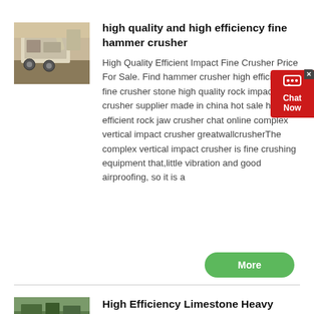[Figure (photo): Image of a large industrial crusher/mining machine in outdoor setting]
high quality and high efficiency fine hammer crusher
High Quality Efficient Impact Fine Crusher Price For Sale. Find hammer crusher high efficiency fine crusher stone high quality rock impact crusher supplier made in china hot sale high efficient rock jaw crusher chat online complex vertical impact crusher greatwallcrusherThe complex vertical impact crusher is fine crushing equipment that,little vibration and good airproofing, so it is a
[Figure (illustration): Green 'More' button]
[Figure (photo): Image of limestone or quarry setting]
High Efficiency Limestone Heavy Hammer